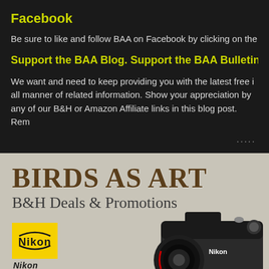Facebook
Be sure to like and follow BAA on Facebook by clicking on the
Support the BAA Blog. Support the BAA Bulletin
We want and need to keep providing you with the latest free information and all manner of related information. Show your appreciation by clicking on any of our B&H or Amazon Affiliate links in this blog post. Rem
[Figure (logo): Birds As Art B&H Deals & Promotions banner with Nikon logo and camera]
BIRDS AS ART
B&H Deals & Promotions
[Figure (logo): Nikon yellow logo box]
BUY TOGETHER